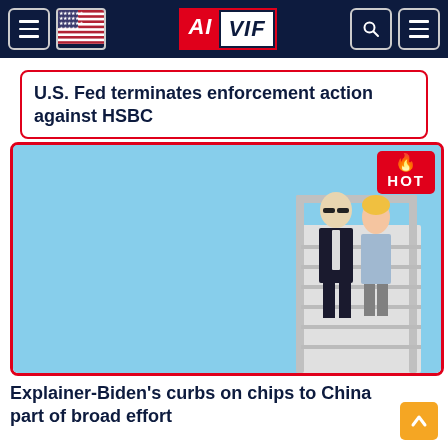AIVIF
U.S. Fed terminates enforcement action against HSBC
[Figure (photo): Two people descending airplane stairs. A man in a dark suit with sunglasses and a woman in a light blue jacket walk down the steps of an aircraft against a clear blue sky. HOT badge overlay in top-right corner.]
Explainer-Biden's curbs on chips to China part of broad effort